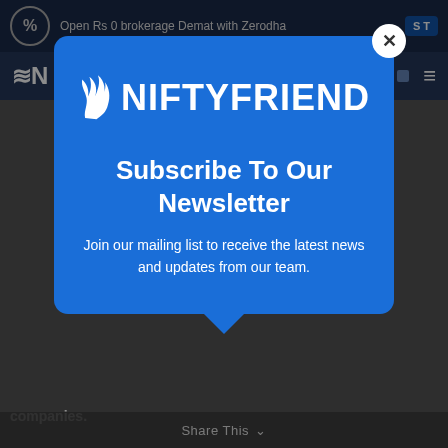Open Rs 0 brokerage Demat with Zerodha  S T...
[Figure (screenshot): NiftyFriend website navigation bar with logo]
[Figure (infographic): NiftyFriend newsletter subscription modal popup with blue background, logo, title 'Subscribe To Our Newsletter', and body text 'Join our mailing list to receive the latest news and updates from our team.']
Subscribe To Our Newsletter
Join our mailing list to receive the latest news and updates from our team.
Share This